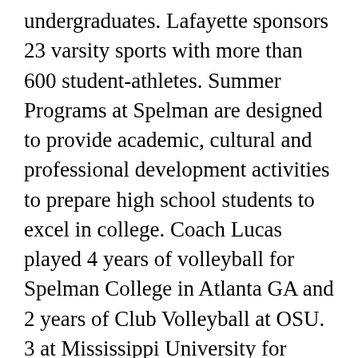undergraduates. Lafayette sponsors 23 varsity sports with more than 600 student-athletes. Summer Programs at Spelman are designed to provide academic, cultural and professional development activities to prepare high school students to excel in college. Coach Lucas played 4 years of volleyball for Spelman College in Atlanta GA and 2 years of Club Volleyball at OSU. 3 at Mississippi University for Women. Read Hall, the gym where the Spelman Jaguars competed for more than 60 years, is gone as well. Some within the Spelman community knew Kennedy before she became a Spelman student. more», Are you ready to become a Spelman woman? Women's Volleyball. Participation in student activities is believed to